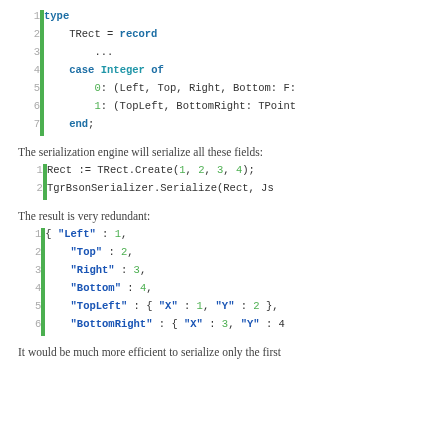[Figure (screenshot): Code block showing Pascal type declaration with line numbers 1-7 and green vertical bar. Lines: 1: type, 2: TRect = record, 3: ..., 4: case Integer of, 5: 0: (Left, Top, Right, Bottom: F:, 6: 1: (TopLeft, BottomRight: TPoint, 7: end;]
The serialization engine will serialize all these fields:
[Figure (screenshot): Code block with 2 lines: 1: Rect := TRect.Create(1, 2, 3, 4); 2: TgrBsonSerializer.Serialize(Rect, Js...]
The result is very redundant:
[Figure (screenshot): JSON code block with 6 lines: 1: { "Left" : 1, 2: "Top" : 2, 3: "Right" : 3, 4: "Bottom" : 4, 5: "TopLeft" : { "X" : 1, "Y" : 2 }, 6: "BottomRight" : { "X" : 3, "Y" : 4]
It would be much more efficient to serialize only the first...